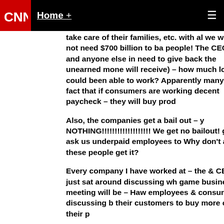CNN | Home +
take care of their families, etc. with al we would not need $700 billion to ba people! The CEO's and anyone else in need to give back the unearned mone will receive) – how much longer could been able to work? Apparently many the fact that if consumers are working decent paycheck – they will buy prod

Also, the companies get a bail out – y NOTHING!!!!!!!!!!!!!!!!!!! We get no bailout! gall to ask us underpaid employees to Why don't any of these people get it?

Every company I have worked at – the & CEO's just sat around discussing wh game business meeting will be – Haw employees & consumers} discussing b their customers to buy more of their p